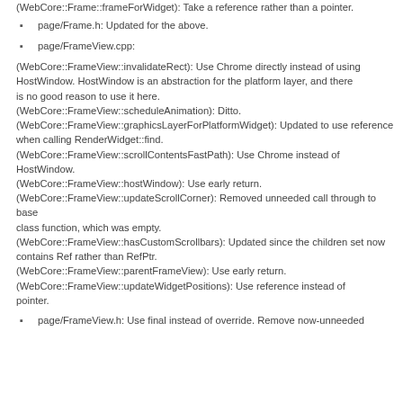(WebCore::Frame::frameForWidget): Take a reference rather than a pointer.
page/Frame.h: Updated for the above.
page/FrameView.cpp:
(WebCore::FrameView::invalidateRect): Use Chrome directly instead of using HostWindow. HostWindow is an abstraction for the platform layer, and there is no good reason to use it here.
(WebCore::FrameView::scheduleAnimation): Ditto.
(WebCore::FrameView::graphicsLayerForPlatformWidget): Updated to use reference when calling RenderWidget::find.
(WebCore::FrameView::scrollContentsFastPath): Use Chrome instead of HostWindow.
(WebCore::FrameView::hostWindow): Use early return.
(WebCore::FrameView::updateScrollCorner): Removed unneeded call through to base class function, which was empty.
(WebCore::FrameView::hasCustomScrollbars): Updated since the children set now contains Ref rather than RefPtr.
(WebCore::FrameView::parentFrameView): Use early return.
(WebCore::FrameView::updateWidgetPositions): Use reference instead of pointer.
page/FrameView.h: Use final instead of override. Remove now-unneeded